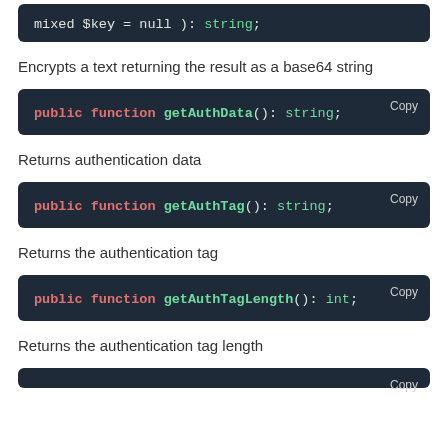Encrypts a text returning the result as a base64 string
Returns authentication data
Returns the authentication tag
Returns the authentication tag length